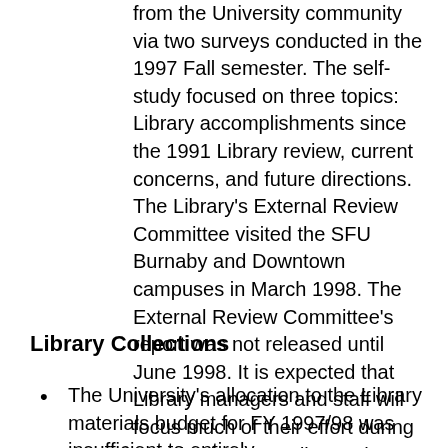from the University community via two surveys conducted in the 1997 Fall semester. The self-study focused on three topics: Library accomplishments since the 1991 Library review, current concerns, and future directions. The Library's External Review Committee visited the SFU Burnaby and Downtown campuses in March 1998. The External Review Committee's report was not released until June 1998. It is expected that Library managers and staff will focus much of their effort during 1998/99 in responding to the External Review Committee's report and recommendations, as well as producing a three year plan for the Library.
Library Collections
The University's allocation to the Library materials budget for FY 1997/98 was insufficient to entirely compensate for the continuing rising inflation and